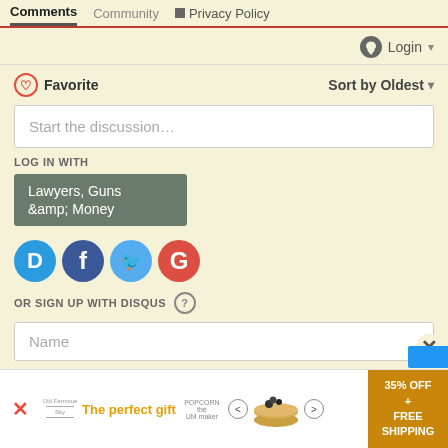Comments   Community   Privacy Policy
Login
♡ Favorite   Sort by Oldest
Start the discussion...
LOG IN WITH
Lawyers, Guns &amp; Money
[Figure (screenshot): Social login icons: Disqus (D), Facebook (f), Twitter bird, Google (G)]
OR SIGN UP WITH DISQUS ?
Name
Email
[Figure (infographic): Advertisement banner: The perfect gift, 35% OFF + FREE SHIPPING]